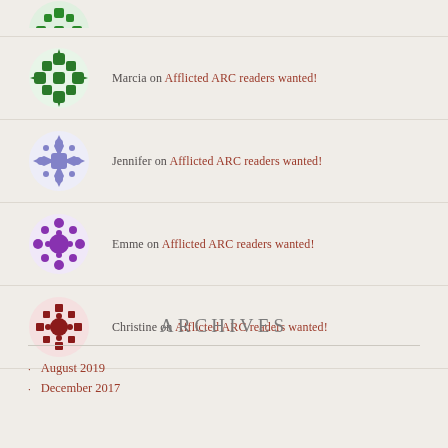Marcia on Afflicted ARC readers wanted!
Jennifer on Afflicted ARC readers wanted!
Emme on Afflicted ARC readers wanted!
Christine on Afflicted ARC readers wanted!
ARCHIVES
August 2019
December 2017